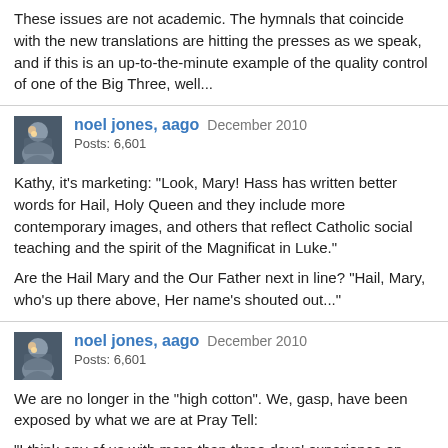These issues are not academic. The hymnals that coincide with the new translations are hitting the presses as we speak, and if this is an up-to-the-minute example of the quality control of one of the Big Three, well...
noel jones, aago   December 2010
Posts: 6,601
Kathy, it's marketing: "Look, Mary! Hass has written better words for Hail, Holy Queen and they include more contemporary images, and others that reflect Catholic social teaching and the spirit of the Magnificat in Luke."

Are the Hail Mary and the Our Father next in line? "Hail, Mary, who's up there above, Her name's shouted out..."
noel jones, aago   December 2010
Posts: 6,601
We are no longer in the "high cotton". We, gasp, have been exposed by what we are at Pray Tell:

"I think any of us with more than three days' experience on Catholic liturgy blogs know well what the CMAA regulars were going to do with this one, if they got wind of it."

"Adam, I think you nailed the gist of it with your “behind the back”